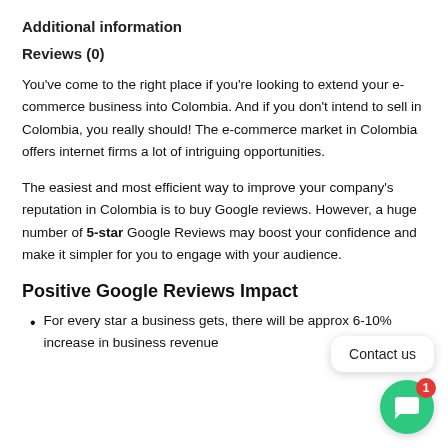Additional information
Reviews (0)
You've come to the right place if you're looking to extend your e-commerce business into Colombia. And if you don't intend to sell in Colombia, you really should! The e-commerce market in Colombia offers internet firms a lot of intriguing opportunities.
The easiest and most efficient way to improve your company's reputation in Colombia is to buy Google reviews. However, a huge number of 5-star Google Reviews may boost your confidence and make it simpler for you to engage with your audience.
Positive Google Reviews Impact
For every star a business gets, there will be approx 6-10% increase in business revenue